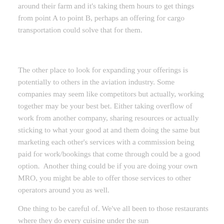around their farm and it's taking them hours to get things from point A to point B, perhaps an offering for cargo transportation could solve that for them.
The other place to look for expanding your offerings is potentially to others in the aviation industry. Some companies may seem like competitors but actually, working together may be your best bet. Either taking overflow of work from another company, sharing resources or actually sticking to what your good at and them doing the same but marketing each other's services with a commission being paid for work/bookings that come through could be a good option.  Another thing could be if you are doing your own MRO, you might be able to offer those services to other operators around you as well.
One thing to be careful of. We've all been to those restaurants where they do every cuisine under the sun